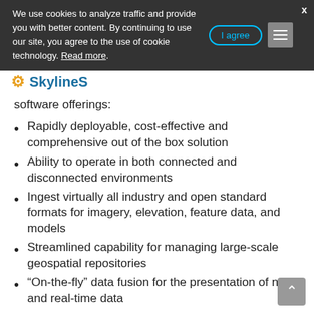We use cookies to analyze traffic and provide you with better content. By continuing to use our site, you agree to the use of cookie technology. Read more.
software offerings:
Rapidly deployable, cost-effective and comprehensive out of the box solution
Ability to operate in both connected and disconnected environments
Ingest virtually all industry and open standard formats for imagery, elevation, feature data, and models
Streamlined capability for managing large-scale geospatial repositories
“On-the-fly” data fusion for the presentation of new and real-time data